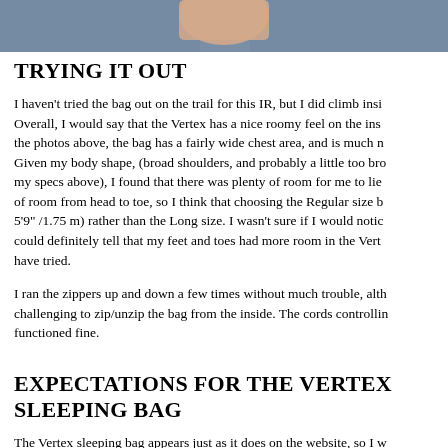[Figure (photo): Cropped photo showing a person wearing a blue jacket, visible from shoulders up, with a hand visible in frame. Only the bottom portion of the image is shown.]
TRYING IT OUT
I haven't tried the bag out on the trail for this IR, but I did climb inside. Overall, I would say that the Vertex has a nice roomy feel on the inside. As the photos above, the bag has a fairly wide chest area, and is much na... Given my body shape, (broad shoulders, and probably a little too bro... my specs above), I found that there was plenty of room for me to lie ... of room from head to toe, so I think that choosing the Regular size ba... 5'9" /1.75 m) rather than the Long size. I wasn't sure if I would notice... could definitely tell that my feet and toes had more room in the Verte... have tried.
I ran the zippers up and down a few times without much trouble, alth... challenging to zip/unzip the bag from the inside. The cords controllin... functioned fine.
EXPECTATIONS FOR THE VERTEX SLEEPING BAG
The Vertex sleeping bag appears just as it does on the website, so I w... matching my expectations. The only thing I found surprising and son... not come with a storage bag like my other sleeping bags. It has loops...